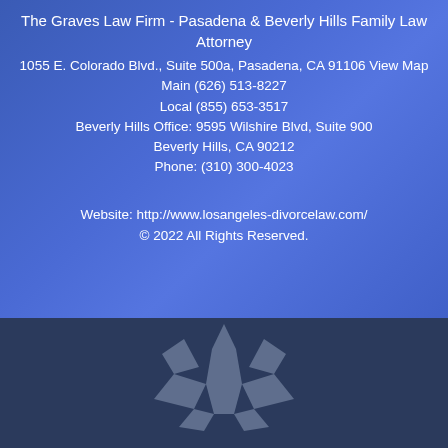The Graves Law Firm - Pasadena & Beverly Hills Family Law Attorney
1055 E. Colorado Blvd., Suite 500a, Pasadena, CA 91106 View Map
Main (626) 513-8227
Local (855) 653-3517
Beverly Hills Office: 9595 Wilshire Blvd, Suite 900
Beverly Hills, CA 90212
Phone: (310) 300-4023
Website: http://www.losangeles-divorcelaw.com/
© 2022 All Rights Reserved.
[Figure (logo): Decorative crown/lotus logo mark in gray on dark blue background]